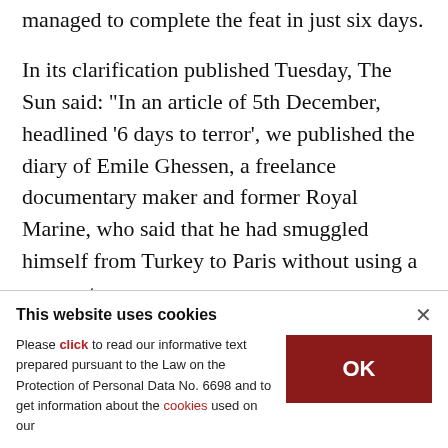managed to complete the feat in just six days.
In its clarification published Tuesday, The Sun said: "In an article of 5th December, headlined '6 days to terror', we published the diary of Emile Ghessen, a freelance documentary maker and former Royal Marine, who said that he had smuggled himself from Turkey to Paris without using a passport.
This website uses cookies
Please click to read our informative text prepared pursuant to the Law on the Protection of Personal Data No. 6698 and to get information about the cookies used on our